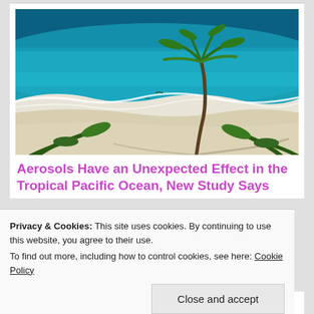[Figure (photo): Aerial view of a tropical beach with turquoise ocean waves, white sand, and palm trees with visible shadows]
Aerosols Have an Unexpected Effect in the Tropical Pacific Ocean, New Study Says
Privacy & Cookies: This site uses cookies. By continuing to use this website, you agree to their use.
To find out more, including how to control cookies, see here: Cookie Policy
Close and accept
warming reported in the tropical Pacific…